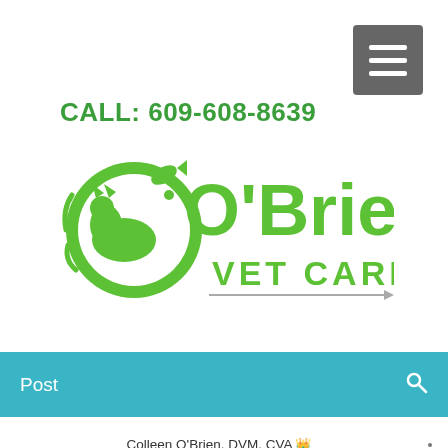[Figure (other): Hamburger menu icon button (three horizontal white lines on grey background)]
CALL: 609-608-8639
[Figure (logo): O'Brien Vet Care logo — green circular animal emblem with cat and dog silhouettes, large green text O'Brien and green VET CARE text below with grey decorative line]
Post
Colleen O'Brien, DVM, CVA 👑
Apr 2, 2020 · 1 min
[Figure (infographic): Bottom contact icons: green phone, pink/red email envelope, blue Facebook logo]